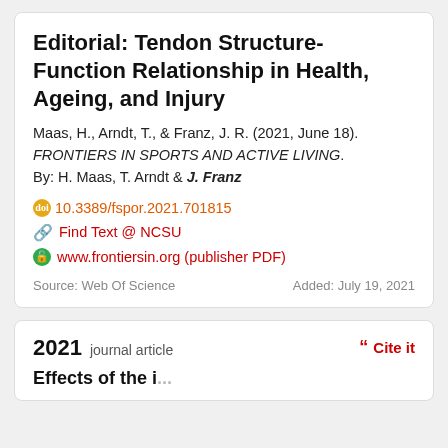Editorial: Tendon Structure-Function Relationship in Health, Ageing, and Injury
Maas, H., Arndt, T., & Franz, J. R. (2021, June 18). FRONTIERS IN SPORTS AND ACTIVE LIVING.
By: H. Maas, T. Arndt & J. Franz
10.3389/fspor.2021.701815
Find Text @ NCSU
www.frontiersin.org (publisher PDF)
Source: Web Of Science   Added: July 19, 2021
2021 journal article
Cite it
Effects of the i...